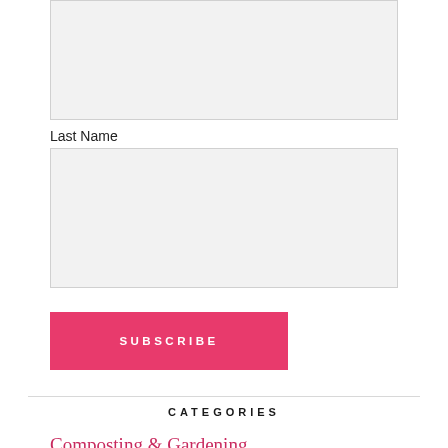[Figure (other): Empty text input box at top of page (partially visible, cropped at top)]
Last Name
[Figure (other): Empty text input box for Last Name field]
SUBSCRIBE
CATEGORIES
Composting & Gardening
Dream Baby aka Babies Rock
Half a Bubble Off Pl…